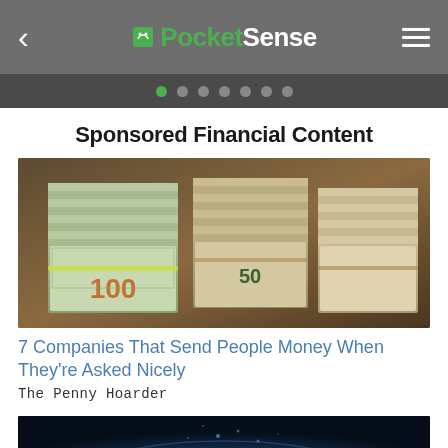PocketSense
Sponsored Financial Content
[Figure (photo): Stacks of bundled US dollar bills ($100 and $50 denominations) on a wooden surface]
7 Companies That Send People Money When They're Asked Nicely
The Penny Hoarder
[Figure (photo): Dark blue tech/financial background with glowing red circle and arc lines]